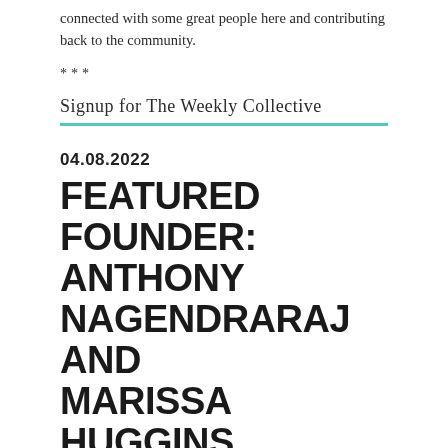connected with some great people here and contributing back to the community.
***
Signup for The Weekly Collective
04.08.2022
FEATURED FOUNDER: ANTHONY NAGENDRARAJ AND MARISSA HUGGINS